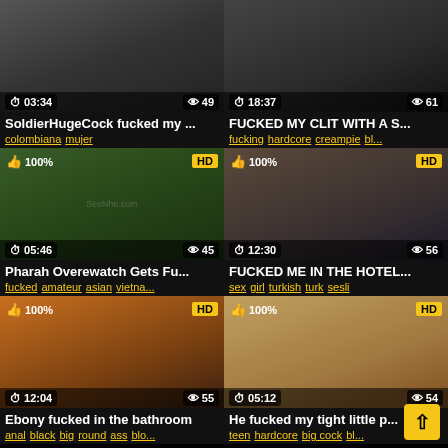[Figure (screenshot): Video thumbnail grid with 6 video cards, 2 columns. Card 1: duration 03:34, views 49, title 'SoldierHugeCock fucked my ...', tags: colombiana mujer. Card 2: duration 18:37, views 61, title 'FUCKED MY CLIT WITH A S...', tags: fucking hardcore creampie bl.... Card 3: 100% liked, HD, duration 05:46, views 45, title 'Pharah Overewatch Gets Fu...', tags: fucked amateur asian vietna.... Card 4: 100% liked, HD, duration 12:30, views 56, title 'FUCKED ME IN THE HOTEL...', tags: sex girl turkish turk sesli. Card 5: 100% liked, HD, duration 12:04, views 55, title 'Ebony fucked in the bathroom', tags: anal black big round ass blo.... Card 6: 100% liked, HD, duration 05:12, views 54, title 'He fucked my tight little p...', tags: teen hardcore big cock bl...]